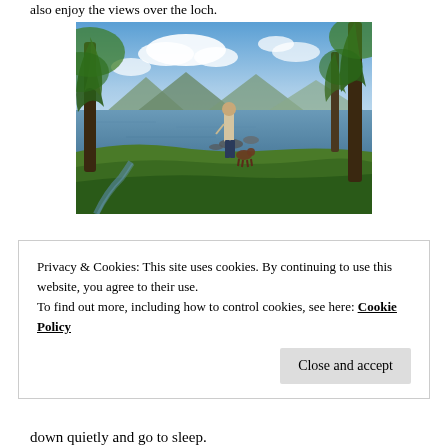also enjoy the views over the loch.
[Figure (photo): Person standing at the edge of a loch with a dog, surrounded by trees and green grass, mountains visible in the background under a blue sky with clouds.]
Privacy & Cookies: This site uses cookies. By continuing to use this website, you agree to their use.
To find out more, including how to control cookies, see here: Cookie Policy
down quietly and go to sleep.